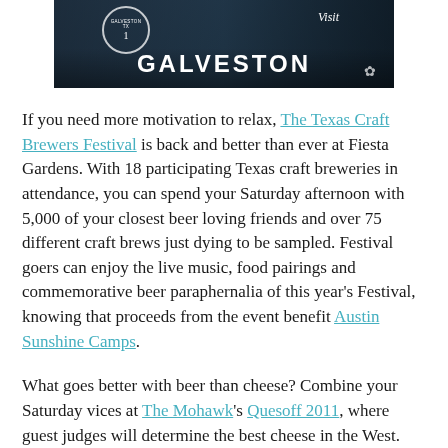[Figure (photo): Visit Galveston banner/advertisement with dark teal background showing a waterfront building and the text 'Visit GALVESTON' with a circular badge and snowflake/sand dollar logo]
If you need more motivation to relax, The Texas Craft Brewers Festival is back and better than ever at Fiesta Gardens. With 18 participating Texas craft breweries in attendance, you can spend your Saturday afternoon with 5,000 of your closest beer loving friends and over 75 different craft brews just dying to be sampled. Festival goers can enjoy the live music, food pairings and commemorative beer paraphernalia of this year's Festival, knowing that proceeds from the event benefit Austin Sunshine Camps.
What goes better with beer than cheese? Combine your Saturday vices at The Mohawk's Quesoff 2011, where guest judges will determine the best cheese in the West.